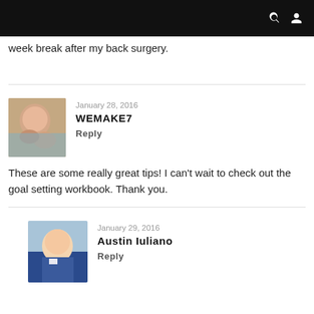week break after my back surgery.
January 28, 2016
WEMAKE7
Reply
These are some really great tips! I can't wait to check out the goal setting workbook. Thank you.
January 29, 2016
Austin Iuliano
Reply